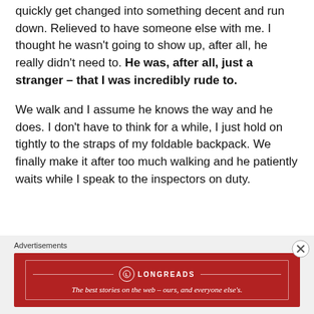quickly get changed into something decent and run down. Relieved to have someone else with me. I thought he wasn't going to show up, after all, he really didn't need to. He was, after all, just a stranger – that I was incredibly rude to.
We walk and I assume he knows the way and he does. I don't have to think for a while, I just hold on tightly to the straps of my foldable backpack. We finally make it after too much walking and he patiently waits while I speak to the inspectors on duty.
Advertisements
[Figure (other): Longreads advertisement banner. Red background with white border. Longreads logo and tagline: The best stories on the web – ours, and everyone else's.]